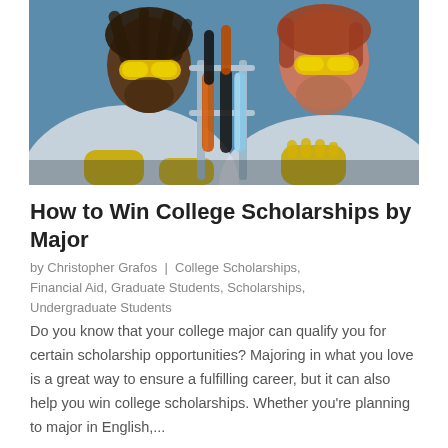[Figure (photo): Two students in white lab coats and yellow safety goggles and yellow gloves examining colorful liquid-filled test tubes in a laboratory rack. One student has dreadlocks, the other has reddish hair.]
How to Win College Scholarships by Major
by Christopher Grafos | College Scholarships, Financial Aid, Graduate Students, Scholarships, Undergraduate Students
Do you know that your college major can qualify you for certain scholarship opportunities? Majoring in what you love is a great way to ensure a fulfilling career, but it can also help you win college scholarships. Whether you're planning to major in English,...